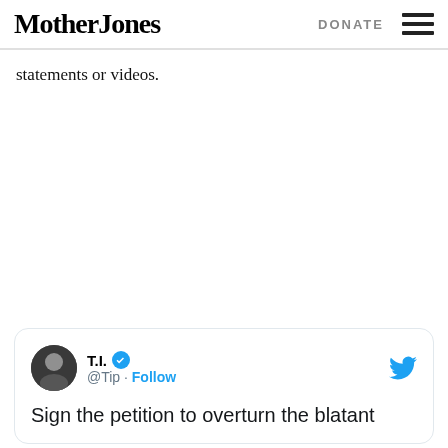Mother Jones | DONATE
statements or videos.
[Figure (screenshot): Embedded tweet from T.I. (@Tip) with verified badge and Follow link. Tweet text begins: 'Sign the petition to overturn the blatant']